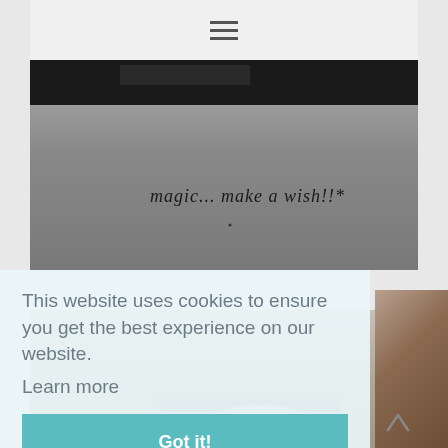[Figure (screenshot): Website screenshot showing a navigation bar at top with hamburger menu icon, a main photo of a gray book/box with handwritten text 'magic... make a wish!!*', and a cookie consent overlay at the bottom with 'Learn more' link and 'Got it!' button.]
This website uses cookies to ensure you get the best experience on our website.
Learn more
Got it!